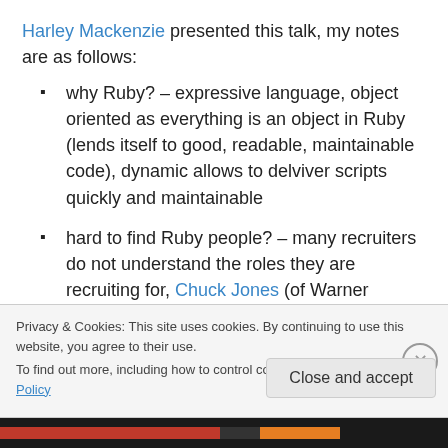Harley Mackenzie presented this talk, my notes are as follows:
why Ruby? – expressive language, object oriented as everything is an object in Ruby (lends itself to good, readable, maintainable code), dynamic allows to delviver scripts quickly and maintainable
hard to find Ruby people? – many recruiters do not understand the roles they are recruiting for, Chuck Jones (of Warner Brothers cartoon fame) looked for artists knowing he could train them to animate, the
Privacy & Cookies: This site uses cookies. By continuing to use this website, you agree to their use.
To find out more, including how to control cookies, see here: Cookie Policy
Close and accept